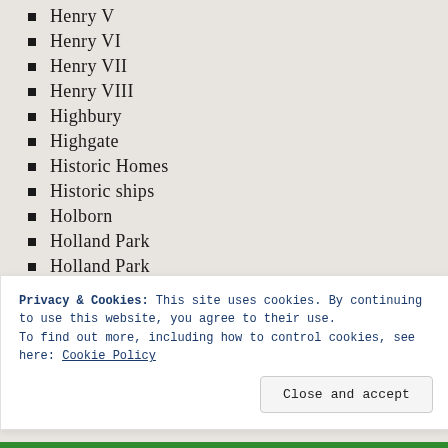Henry V
Henry VI
Henry VII
Henry VIII
Highbury
Highgate
Historic Homes
Historic ships
Holborn
Holland Park
Holland Park
Horace Walpole
Hoxton
Hundred Years War
Hyde Park Corner
Privacy & Cookies: This site uses cookies. By continuing to use this website, you agree to their use.
To find out more, including how to control cookies, see here: Cookie Policy
Close and accept